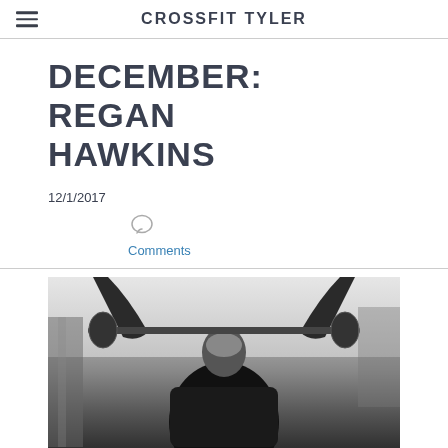CROSSFIT TYLER
DECEMBER: REGAN HAWKINS
12/1/2017
Comments
[Figure (photo): Black and white photo of a person from behind, arms raised overhead gripping a barbell, taken in an outdoor CrossFit gym setting.]